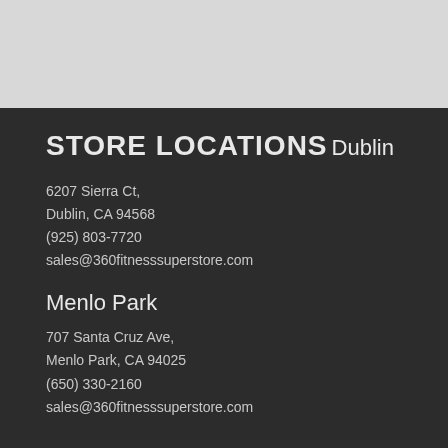STORE LOCATIONS
Dublin
6207 Sierra Ct,
Dublin, CA 94568
(925) 803-7720
sales@360fitnesssuperstore.com
Menlo Park
707 Santa Cruz Ave,
Menlo Park, CA 94025
(650) 330-2160
sales@360fitnesssuperstore.com